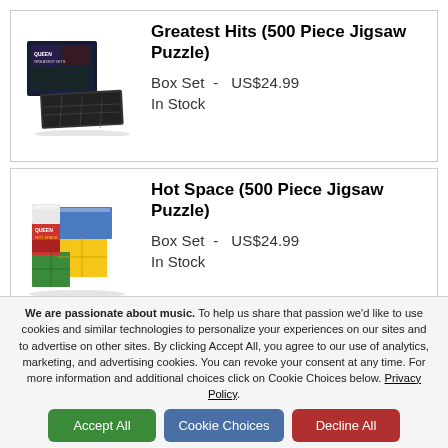[Figure (illustration): Queen Greatest Hits 500 Piece Jigsaw Puzzle box set product image - dark themed puzzle box and assembled puzzle]
Greatest Hits (500 Piece Jigsaw Puzzle)
Box Set  -  US$24.99
In Stock
[Figure (illustration): Queen Hot Space 500 Piece Jigsaw Puzzle box set product image - colorful Rubik's cube style puzzle]
Hot Space (500 Piece Jigsaw Puzzle)
Box Set  -  US$24.99
In Stock
We are passionate about music. To help us share that passion we'd like to use cookies and similar technologies to personalize your experiences on our sites and to advertise on other sites. By clicking Accept All, you agree to our use of analytics, marketing, and advertising cookies. You can revoke your consent at any time. For more information and additional choices click on Cookie Choices below. Privacy Policy.
Accept All
Cookie Choices
Decline All